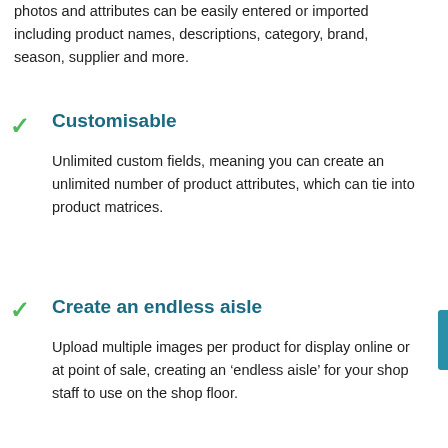photos and attributes can be easily entered or imported including product names, descriptions, category, brand, season, supplier and more.
Customisable
Unlimited custom fields, meaning you can create an unlimited number of product attributes, which can tie into product matrices.
Create an endless aisle
Upload multiple images per product for display online or at point of sale, creating an 'endless aisle' for your shop staff to use on the shop floor.